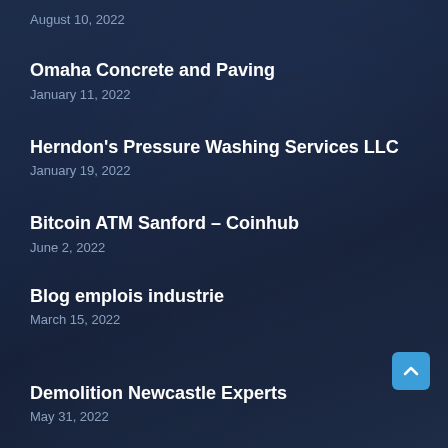August 10, 2022
Omaha Concrete and Paving
January 11, 2022
Herndon's Pressure Washing Services LLC
January 19, 2022
Bitcoin ATM Sanford – Coinhub
June 2, 2022
Blog emplois industrie
March 15, 2022
Demolition Newcastle Experts
May 31, 2022